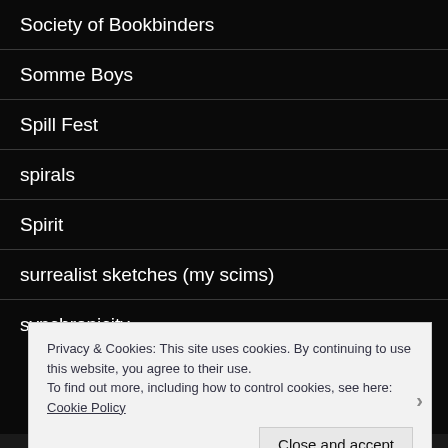Society of Bookbinders
Somme Boys
Spill Fest
spirals
Spirit
surrealist sketches (my scims)
synchronicity
tai chi
Tao
Privacy & Cookies: This site uses cookies. By continuing to use this website, you agree to their use.
To find out more, including how to control cookies, see here: Cookie Policy
Close and accept